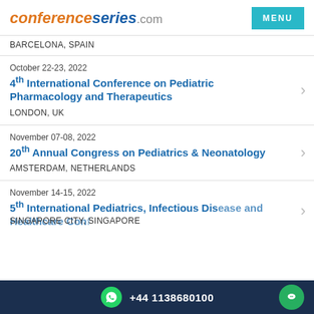conferenceseries.com
BARCELONA, SPAIN
October 22-23, 2022
4th International Conference on Pediatric Pharmacology and Therapeutics
LONDON, UK
November 07-08, 2022
20th Annual Congress on Pediatrics & Neonatology
AMSTERDAM, NETHERLANDS
November 14-15, 2022
5th International Pediatrics, Infectious Disease and Healthcare Conference
SINGAPORE CITY, SINGAPORE
+44 1138680100